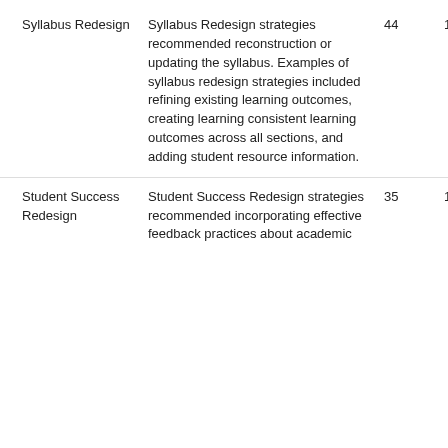| Category | Description | N | % |
| --- | --- | --- | --- |
| Syllabus Redesign | Syllabus Redesign strategies recommended reconstruction or updating the syllabus. Examples of syllabus redesign strategies included refining existing learning outcomes, creating learning consistent learning outcomes across all sections, and adding student resource information. | 44 | 13.10% |
| Student Success Redesign | Student Success Redesign strategies recommended incorporating effective feedback practices about academic... | 35 | 10.42% |